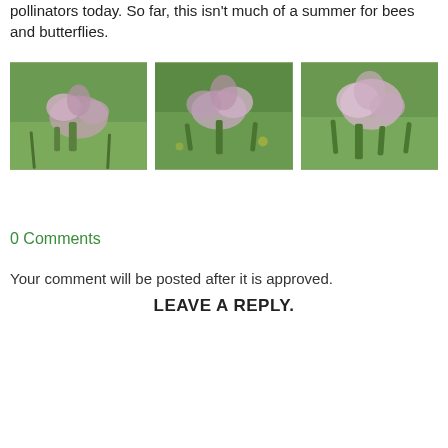pollinators today. So far, this isn't much of a summer for bees and butterflies.
[Figure (photo): Three side-by-side photos of pale pink/purple wildflowers (orchids) with green stems and leaves, close-up nature photography]
0 Comments
Your comment will be posted after it is approved.
LEAVE A REPLY.